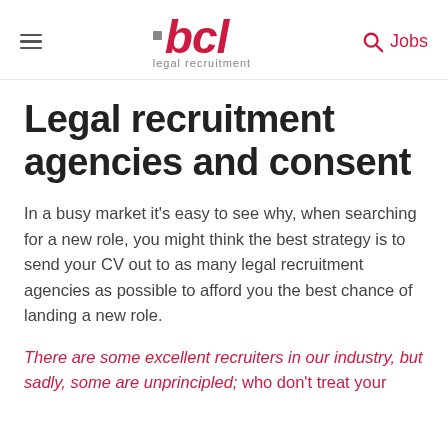bcl legal recruitment | Jobs
Legal recruitment agencies and consent
In a busy market it's easy to see why, when searching for a new role, you might think the best strategy is to send your CV out to as many legal recruitment agencies as possible to afford you the best chance of landing a new role.
There are some excellent recruiters in our industry, but sadly, some are unprincipled; who don't treat your